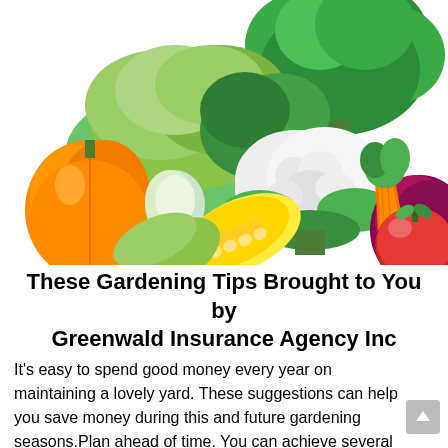[Figure (illustration): Colorful illustration of various vegetables including broccoli, cauliflower, carrot, tomato, corn, orange bell pepper, lettuce, and purple onion arranged together on a white background.]
These Gardening Tips Brought to You by Greenwald Insurance Agency Inc
It's easy to spend good money every year on maintaining a lovely yard. These suggestions can help you save money during this and future gardening seasons.Plan ahead of time. You can achieve several goals by determining the